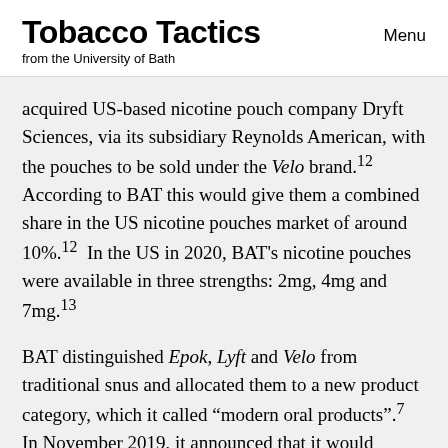Tobacco Tactics
from the University of Bath
Menu
acquired US-based nicotine pouch company Dryft Sciences, via its subsidiary Reynolds American, with the pouches to be sold under the Velo brand.12 According to BAT this would give them a combined share in the US nicotine pouches market of around 10%.12 In the US in 2020, BAT's nicotine pouches were available in three strengths: 2mg, 4mg and 7mg.13
BAT distinguished Epok, Lyft and Velo from traditional snus and allocated them to a new product category, which it called "modern oral products".7 In November 2019, it announced that it would consolidate its NGPs under fewer brand names, and all its "modern oral" products would be sold as Velo.14 However in 2020, Lyft was still being promoted in Kenya (see below).